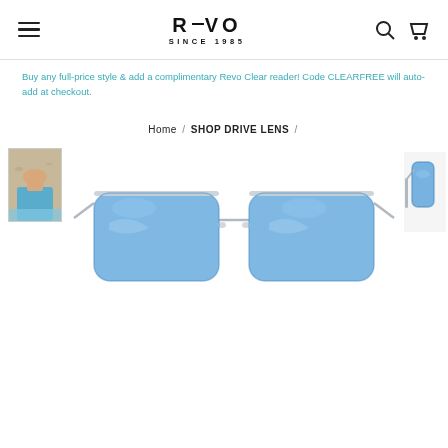REVO SINCE 1985 (with hamburger menu, search, and cart icons)
Buy any full-price style & add a complimentary Revo Clear reader! Code CLEARFREE will auto-add at checkout.
Home / SHOP DRIVE LENS /
[Figure (photo): Thumbnail of person wearing Revo sunglasses outdoors in blue shirt]
[Figure (photo): Main product image of Revo rimless sunglasses with blue polarized lenses and clear/silver frame, front view]
[Figure (photo): Side view of Revo sunglasses with blue lens]